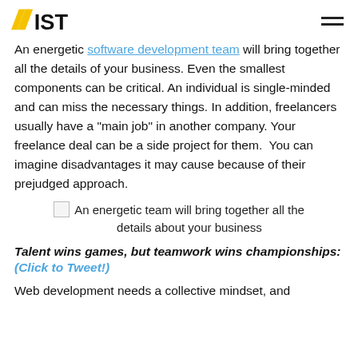AIST [logo] [hamburger menu]
An energetic software development team will bring together all the details of your business. Even the smallest components can be critical. An individual is single-minded and can miss the necessary things. In addition, freelancers usually have a “main job” in another company. Your freelance deal can be a side project for them. You can imagine disadvantages it may cause because of their prejudged approach.
[Figure (photo): Broken/placeholder image icon with caption: An energetic team will bring together all the details about your business]
An energetic team will bring together all the details about your business
Talent wins games, but teamwork wins championships: (Click to Tweet!)
Web development needs a collective mindset, and